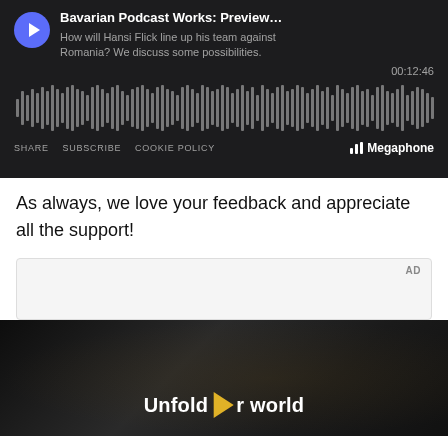[Figure (screenshot): Megaphone podcast player embed showing 'Bavarian Podcast Works: Preview...' episode with waveform, timestamp 00:12:46, SHARE SUBSCRIBE COOKIE POLICY links, and Megaphone branding on dark background.]
As always, we love your feedback and appreciate all the support!
[Figure (screenshot): Advertisement block with light grey background labeled 'AD', followed by a dark video ad showing a person in a car holding a tablet with text 'Unfold your world' and a play button.]